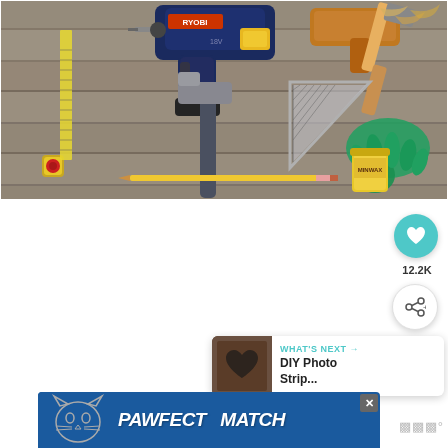[Figure (photo): Overhead view of various DIY tools on a wooden surface: power drill (Ryobi), tape measure, hammer, speed square/triangle ruler, pencil, green rubber gloves, and a can of stain/finish, all laid out on weathered gray wood planks.]
12.2K
WHAT'S NEXT → DIY Photo Strip...
[Figure (photo): Small thumbnail image for 'DIY Photo Strip' next article, showing a dark wooden background with a heart shape cutout.]
[Figure (other): Advertisement banner reading 'PAWFECT MATCH' with a cat face graphic on a blue background.]
[Figure (logo): Wireframe/Wix logo watermark in gray on the right side.]